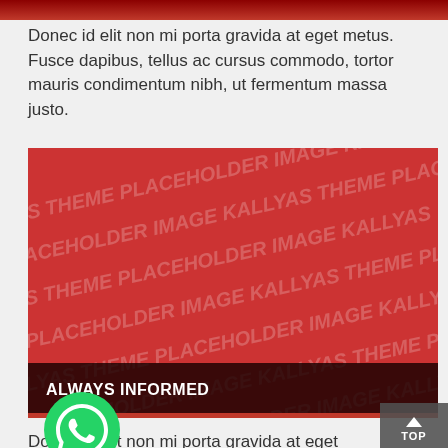Donec id elit non mi porta gravida at eget metus. Fusce dapibus, tellus ac cursus commodo, tortor mauris condimentum nibh, ut fermentum massa justo.
[Figure (photo): Red placeholder image with KALLYAS THEME PLACEHOLDER IMAGE watermark text repeated in diagonal pattern. Bottom bar shows 'ALWAYS INFORMED' in white bold text on dark background.]
Donec id elit non mi porta gravida at eget metus. Fusce dapibus, tellus, tortor mauris condimentum nibh, ut fermentum massa justo.